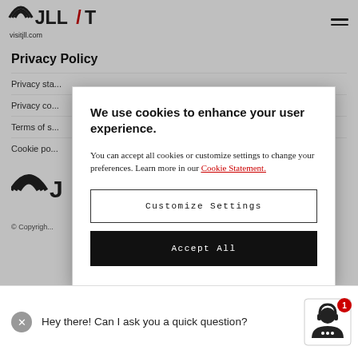JLL visitjll.com
Privacy Policy
Privacy sta...
Privacy co...
Terms of s...
Cookie po...
[Figure (screenshot): Cookie consent modal overlay with headline 'We use cookies to enhance your user experience.' and two buttons: 'Customize Settings' and 'Accept All']
We use cookies to enhance your user experience.
You can accept all cookies or customize settings to change your preferences. Learn more in our Cookie Statement.
Customize Settings
Accept All
© Copyrigh...
Hey there! Can I ask you a quick question?